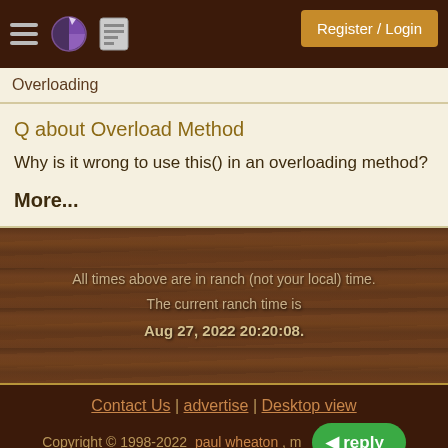Register / Login
Overloading
Q about Overload Method
Why is it wrong to use this() in an overloading method?
More...
All times above are in ranch (not your local) time. The current ranch time is Aug 27, 2022 20:20:08.
Contact Us | advertise | Desktop view
Copyright © 1998-2022  paul wheaton , m...